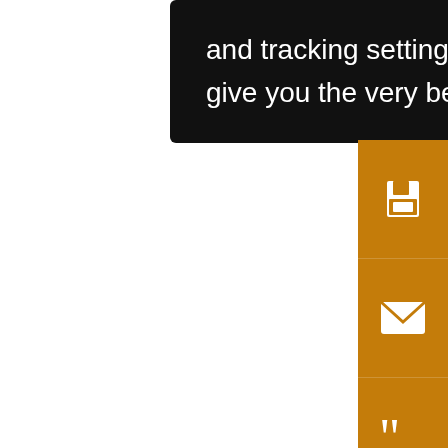and tracking settings to store information that help give you the very best browsing experience.
[Figure (screenshot): Right sidebar with orange background containing save, email, cite, annotation/pencil, and share icon buttons]
CGI
Nor
mo
cen
(Ha
ES,
ESI